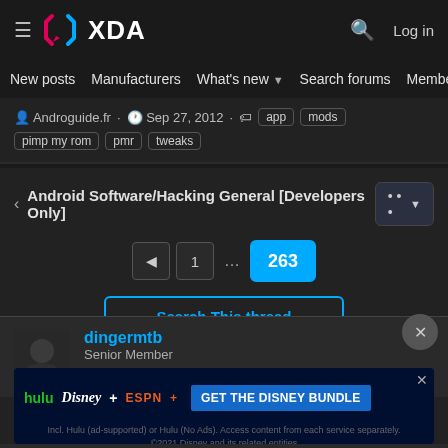XDA Developers — Log in
New posts  Manufacturers  What's new  Search forums  Members
Androguide.fr · Sep 27, 2012 · app  mods  pimp my rom  pmr  tweaks
Android Software/Hacking General [Developers Only]
Page 1 ... 263
Search This thread
dingermtb
Senior Member
[Figure (screenshot): Hulu Disney+ ESPN+ GET THE DISNEY BUNDLE advertisement banner. Incl. Hulu (ad-supported) or Hulu (No Ads). Access content from each service separately. ©2021 Disney and its related entities]